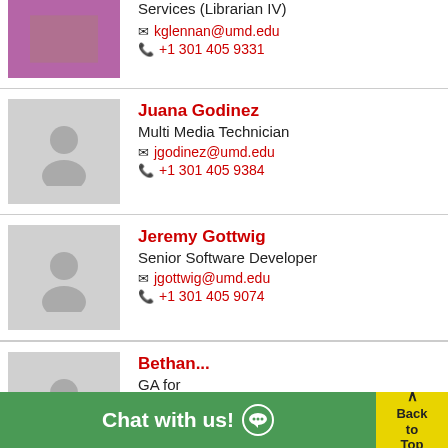Services (Librarian IV)
✉ kglennan@umd.edu
📞 +1 301 405 9331
Juana Godinez
Multi Media Technician
✉ jgodinez@umd.edu
📞 +1 301 405 9384
Jeremy Gottwig
Senior Software Developer
✉ jgottwig@umd.edu
📞 +1 301 405 9074
Bethan...
GA for ...